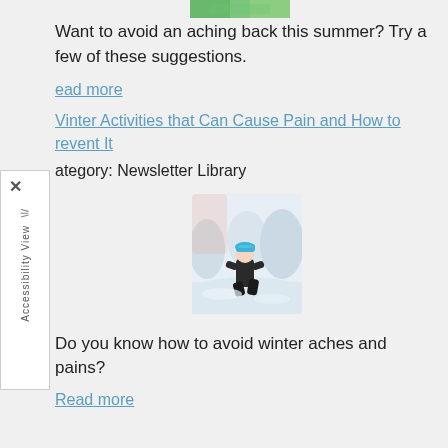[Figure (photo): Partial image of green summer foliage at the top of the page]
Want to avoid an aching back this summer? Try a few of these suggestions.
Read more
Winter Activities that Can Cause Pain and How to Prevent It
Category: Newsletter Library
[Figure (photo): Person in winter gear kneeling in snow, wearing a blue hat and dark clothing, with snowy trees in background]
Do you know how to avoid winter aches and pains?
Read more